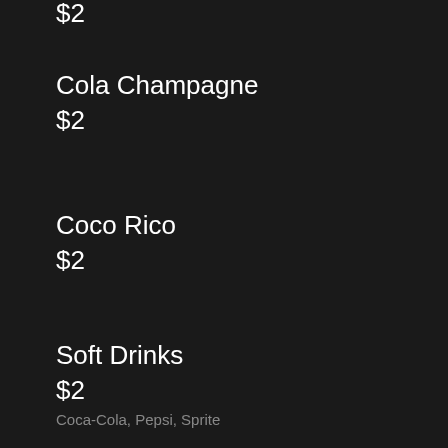$2
Cola Champagne
$2
Coco Rico
$2
Soft Drinks
$2
Coca-Cola, Pepsi, Sprite